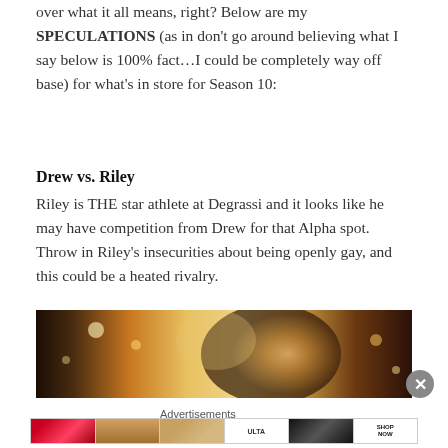over what it all means, right? Below are my SPECULATIONS (as in don't go around believing what I say below is 100% fact…I could be completely way off base) for what's in store for Season 10:
Drew vs. Riley
Riley is THE star athlete at Degrassi and it looks like he may have competition from Drew for that Alpha spot.  Throw in Riley's insecurities about being openly gay, and this could be a heated rivalry.
[Figure (photo): A photo of a person with curly hair against a blurred background with bokeh lights, warm tones, possibly a scene from the TV show Degrassi.]
Advertisements
[Figure (photo): Ulta Beauty advertisement banner showing makeup imagery including lips, brush, eye, Ulta logo, face with dramatic eye makeup, and SHOP NOW text.]